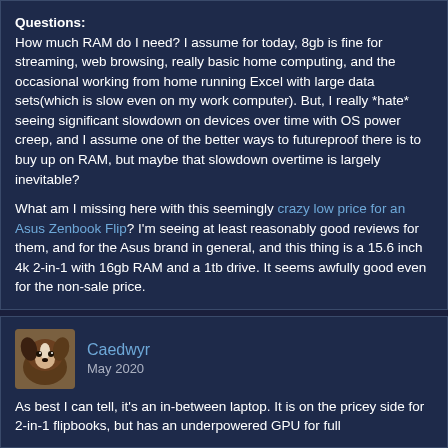Questions:
How much RAM do I need? I assume for today, 8gb is fine for streaming, web browsing, really basic home computing, and the occasional working from home running Excel with large data sets(which is slow even on my work computer). But, I really *hate* seeing significant slowdown on devices over time with OS power creep, and I assume one of the better ways to futureproof there is to buy up on RAM, but maybe that slowdown overtime is largely inevitable?

What am I missing here with this seemingly crazy low price for an Asus Zenbook Flip? I'm seeing at least reasonably good reviews for them, and for the Asus brand in general, and this thing is a 15.6 inch 4k 2-in-1 with 16gb RAM and a 1tb drive. It seems awfully good even for the non-sale price.
Caedwyr
May 2020
As best I can tell, it's an in-between laptop. It is on the pricey side for 2-in-1 flipbooks, but has an underpowered GPU for full